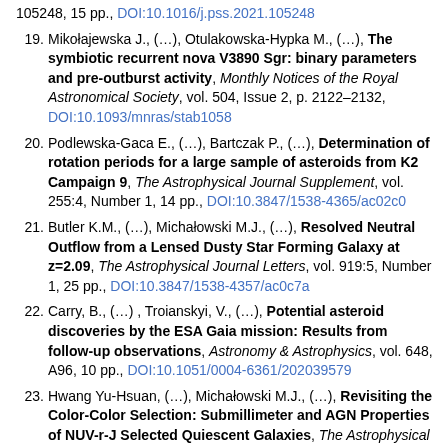105248, 15 pp., DOI:10.1016/j.pss.2021.105248
19. Mikołajewska J., (…), Otulakowska-Hypka M., (…), The symbiotic recurrent nova V3890 Sgr: binary parameters and pre-outburst activity, Monthly Notices of the Royal Astronomical Society, vol. 504, Issue 2, p. 2122–2132, DOI:10.1093/mnras/stab1058
20. Podlewska-Gaca E., (…), Bartczak P., (…), Determination of rotation periods for a large sample of asteroids from K2 Campaign 9, The Astrophysical Journal Supplement, vol. 255:4, Number 1, 14 pp., DOI:10.3847/1538-4365/ac02c0
21. Butler K.M., (…), Michałowski M.J., (…), Resolved Neutral Outflow from a Lensed Dusty Star Forming Galaxy at z=2.09, The Astrophysical Journal Letters, vol. 919:5, Number 1, 25 pp., DOI:10.3847/1538-4357/ac0c7a
22. Carry, B., (…) , Troianskyi, V., (…), Potential asteroid discoveries by the ESA Gaia mission: Results from follow-up observations, Astronomy & Astrophysics, vol. 648, A96, 10 pp., DOI:10.1051/0004-6361/202039579
23. Hwang Yu-Hsuan, (…), Michałowski M.J., (…), Revisiting the Color-Color Selection: Submillimeter and AGN Properties of NUV-r-J Selected Quiescent Galaxies, The Astrophysical Journal, vol. 913:6, Number 1, 19 pp.